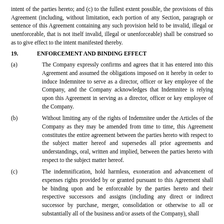intent of the parties hereto; and (c) to the fullest extent possible, the provisions of this Agreement (including, without limitation, each portion of any Section, paragraph or sentence of this Agreement containing any such provision held to be invalid, illegal or unenforceable, that is not itself invalid, illegal or unenforceable) shall be construed so as to give effect to the intent manifested thereby.
19.    ENFORCEMENT AND BINDING EFFECT
(a)    The Company expressly confirms and agrees that it has entered into this Agreement and assumed the obligations imposed on it hereby in order to induce Indemnitee to serve as a director, officer or key employee of the Company, and the Company acknowledges that Indemnitee is relying upon this Agreement in serving as a director, officer or key employee of the Company.
(b)    Without limiting any of the rights of Indemnitee under the Articles of the Company as they may be amended from time to time, this Agreement constitutes the entire agreement between the parties hereto with respect to the subject matter hereof and supersedes all prior agreements and understandings, oral, written and implied, between the parties hereto with respect to the subject matter hereof.
(c)    The indemnification, hold harmless, exoneration and advancement of expenses rights provided by or granted pursuant to this Agreement shall be binding upon and be enforceable by the parties hereto and their respective successors and assigns (including any direct or indirect successor by purchase, merger, consolidation or otherwise to all or substantially all of the business and/or assets of the Company), shall